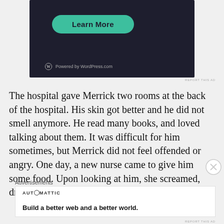[Figure (screenshot): Dark-themed WordPress.com advertisement banner with a teal 'Learn More' rounded button and 'Powered by WordPress.com' text at the bottom.]
The hospital gave Merrick two rooms at the back of the hospital. His skin got better and he did not smell anymore. He read many books, and loved talking about them. It was difficult for him sometimes, but Merrick did not feel offended or angry. One day, a new nurse came to give him some food. Upon looking at him, she screamed, dropped the food on the floor and ran out of the
Advertisements
[Figure (screenshot): Automattic advertisement banner with text 'Build a better web and a better world.']